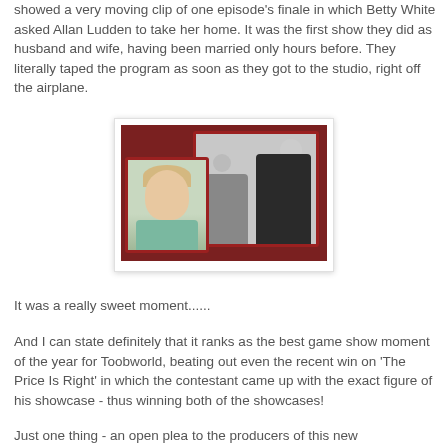showed a very moving clip of one episode's finale in which Betty White asked Allan Ludden to take her home. It was the first show they did as husband and wife, having been married only hours before. They literally taped the program as soon as they got to the studio, right off the airplane.
[Figure (photo): A composite image showing Betty White in color on the left, overlaid on a black-and-white television still showing a man and woman on a game show set, all framed with a dark red border against a dark red background.]
It was a really sweet moment......
And I can state definitely that it ranks as the best game show moment of the year for Toobworld, beating out even the recent win on 'The Price Is Right' in which the contestant came up with the exact figure of his showcase - thus winning both of the showcases!
Just one thing - an open plea to the producers of this new